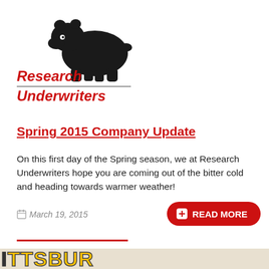[Figure (logo): Research Underwriters logo: black bear illustration above company name in bold red italic text with a horizontal rule separating the two words]
Spring 2015 Company Update
On this first day of the Spring season, we at Research Underwriters hope you are coming out of the bitter cold and heading towards warmer weather!
March 19, 2015
[Figure (other): Bottom strip showing partial text TTSBUR in large yellow/gold block letters on a dark background, partially cut off at bottom of page]